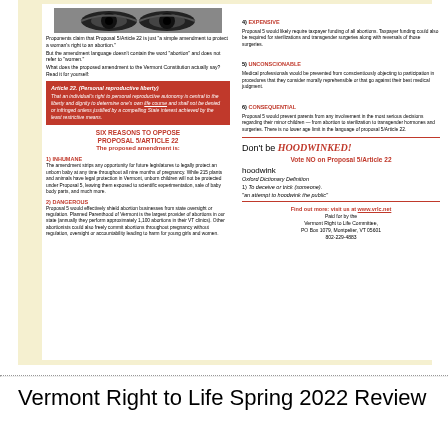[Figure (photo): Close-up image of eyes]
Proponents claim that Proposal 5/Article 22 is just "a simple amendment to protect a woman's right to an abortion."
But the amendment language doesn't contain the word "abortion" and does not refer to "women."
What does the proposed amendment to the Vermont Constitution actually say? Read it for yourself:
Article 22. (Personal reproductive liberty)
That an individual's right to personal reproductive autonomy is central to the liberty and dignity to determine one's own life course and shall not be denied or infringed unless justified by a compelling State interest achieved by the least restrictive means.
SIX REASONS TO OPPOSE PROPOSAL 5/ARTICLE 22
The proposed amendment is:
1) INHUMANE
The amendment strips any opportunity for future legislatures to legally protect an unborn baby at any time throughout all nine months of pregnancy. While 215 plants and animals have legal protection in Vermont, unborn children will not be protected under Proposal 5, leaving them exposed to scientific experimentation, sale of baby body parts, and much more.
2) DANGEROUS
Proposal 5 would effectively shield abortion businesses from state oversight or regulation. Planned Parenthood of Vermont is the largest provider of abortions in our state (annually they perform approximately 1,100 abortions in their VT clinics). Other abortionists could also freely commit abortions throughout pregnancy without regulation, oversight or accountability leading to harm for young girls and women.
4) EXPENSIVE
Proposal 5 would likely require taxpayer funding of all abortions. Taxpayer funding could also be required for sterilizations and transgender surgeries along with reversals of those surgeries.
5) UNCONSCIONABLE
Medical professionals would be prevented from conscientiously objecting to participation in procedures that they consider morally reprehensible or that go against their best medical judgment.
6) CONSEQUENTIAL
Proposal 5 would prevent parents from any involvement in the most serious decisions regarding their minor children — from abortion to sterilization to transgender hormones and surgeries. There is no lower age limit in the language of proposal 5/Article 22.
Don't be HOODWINKED!
Vote NO on Proposal 5/Article 22
hoodwink
Oxford Dictionary Definition
1) To deceive or trick (someone).
"an attempt to hoodwink the public"
Find out more: visit us at www.vrlc.net
Paid for by the
Vermont Right to Life Committee,
PO Box 1079, Montpelier, VT 05601
802-229-4883
Vermont Right to Life Spring 2022 Review